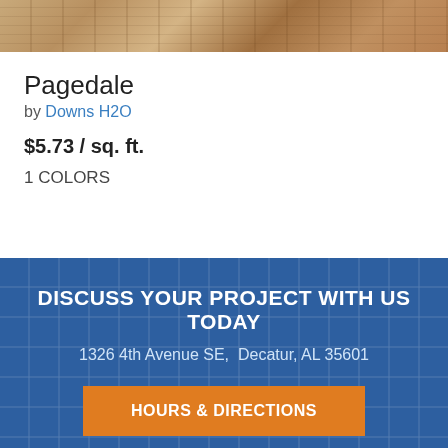[Figure (photo): Close-up of wood-look flooring texture in warm brown tones]
Pagedale
by Downs H2O
$5.73 / sq. ft.
1 COLORS
DISCUSS YOUR PROJECT WITH US TODAY
1326 4th Avenue SE,  Decatur, AL 35601
HOURS & DIRECTIONS
Privacy  |  Terms  |   |  © 2022 FA Management Enterprises, Inc.